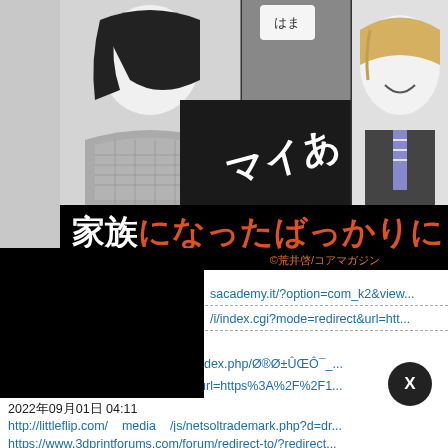[Figure (illustration): Manga/comic book cover image showing anime-style characters in grayscale panels with Japanese title text '家族になったばっかりに' in black and orange on black background, with credit '©荒井啓/コアマガジン']
sacademy.it/?option=com_k2&view...
/i/index.cgi?mode=redirect&url=htt...
2022年09月01日 04:11
http://urbino.fh-joanneum.at/trials/index.php/Ø®Ø±ÛŒÔ¯_...
http://www.bausch.pk/en/redirect/?url=https%3A%2F%2F1...
2022年09月01日 04:11
http://littleflip.com/__media__/js/netsoltrademark.php?d=dr...
https://www.3dprintforums.com/forum/redirect-to/?redirect...
2022年09月01日 04:11